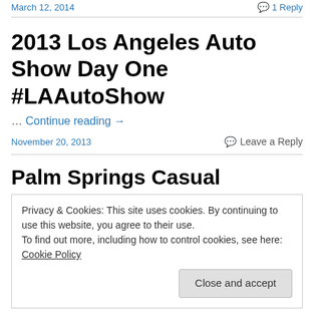March 12, 2014    💬 1 Reply
2013 Los Angeles Auto Show Day One #LAAutoShow
… Continue reading →
November 20, 2013    💬 Leave a Reply
Palm Springs Casual
Privacy & Cookies: This site uses cookies. By continuing to use this website, you agree to their use.
To find out more, including how to control cookies, see here: Cookie Policy
Close and accept
Canyon Golf Club in south Palm Springs; however, this